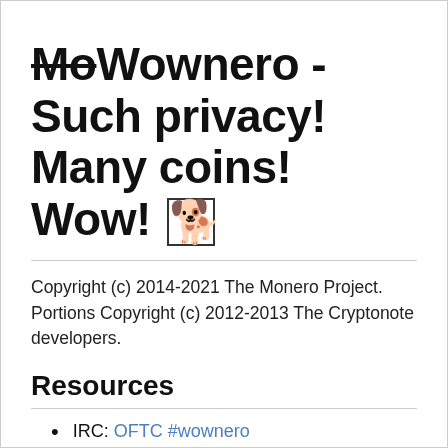MoWownero - Such privacy! Many coins! Wow! 🐕
Copyright (c) 2014-2021 The Monero Project.
Portions Copyright (c) 2012-2013 The Cryptonote developers.
Resources
IRC: OFTC #wownero
Web: wownero.org
Twitter: @w0wn3r0
Reddit: ...